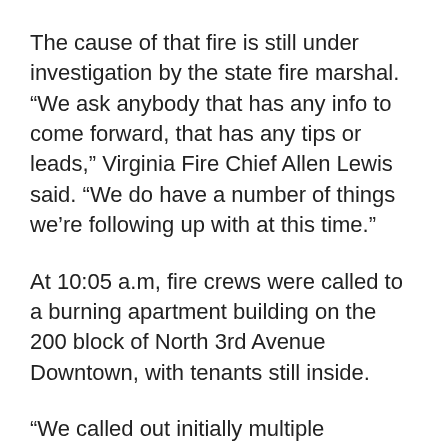The cause of that fire is still under investigation by the state fire marshal. “We ask anybody that has any info to come forward, that has any tips or leads,” Virginia Fire Chief Allen Lewis said. “We do have a number of things we’re following up with at this time.”
At 10:05 a.m, fire crews were called to a burning apartment building on the 200 block of North 3rd Avenue Downtown, with tenants still inside.
“We called out initially multiple surrounding ambulances because we had reports of people trapped and multiple people injured,” said Chief Lewis. “Those reports turned out not to materialize but they all responded.”